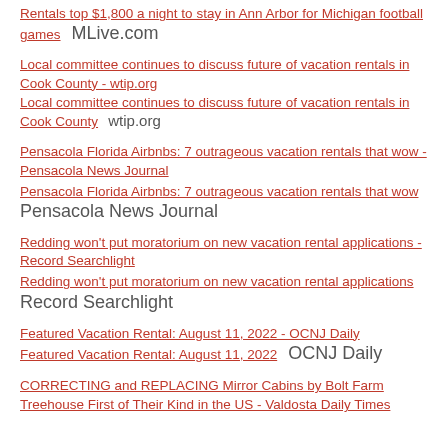Rentals top $1,800 a night to stay in Ann Arbor for Michigan football games   MLive.com
Local committee continues to discuss future of vacation rentals in Cook County - wtip.org
Local committee continues to discuss future of vacation rentals in Cook County   wtip.org
Pensacola Florida Airbnbs: 7 outrageous vacation rentals that wow - Pensacola News Journal
Pensacola Florida Airbnbs: 7 outrageous vacation rentals that wow   Pensacola News Journal
Redding won't put moratorium on new vacation rental applications - Record Searchlight
Redding won't put moratorium on new vacation rental applications   Record Searchlight
Featured Vacation Rental: August 11, 2022 - OCNJ Daily
Featured Vacation Rental: August 11, 2022   OCNJ Daily
CORRECTING and REPLACING Mirror Cabins by Bolt Farm Treehouse First of Their Kind in the US - Valdosta Daily Times